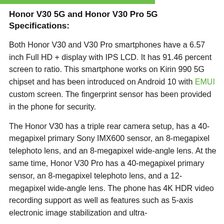Honor V30 5G and Honor V30 Pro 5G Specifications:
Both Honor V30 and V30 Pro smartphones have a 6.57 inch Full HD + display with IPS LCD. It has 91.46 percent screen to ratio. This smartphone works on Kirin 990 5G chipset and has been introduced on Android 10 with EMUI custom screen. The fingerprint sensor has been provided in the phone for security.
The Honor V30 has a triple rear camera setup, has a 40-megapixel primary Sony IMX600 sensor, an 8-megapixel telephoto lens, and an 8-megapixel wide-angle lens. At the same time, Honor V30 Pro has a 40-megapixel primary sensor, an 8-megapixel telephoto lens, and a 12-megapixel wide-angle lens. The phone has 4K HDR video recording support as well as features such as 5-axis electronic image stabilization and ultra-